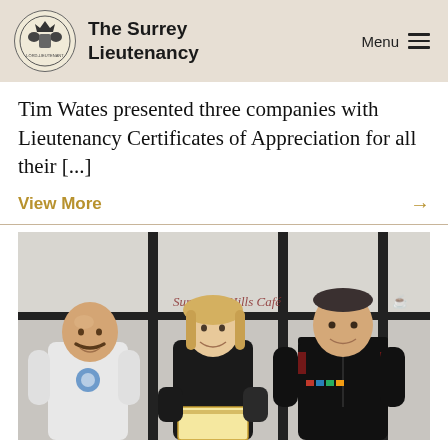The Surrey Lieutenancy | Menu
Tim Wates presented three companies with Lieutenancy Certificates of Appreciation for all their [...]
View More →
[Figure (photo): Three people standing in front of a café with dark window frames. On the left is a bald man with a moustache wearing a white hoodie. In the centre is a blonde woman in a black top holding a certificate. On the right is a man in a black military/police uniform with medals and red trim. Background shows partial text 'Surrey Hills Café'.]